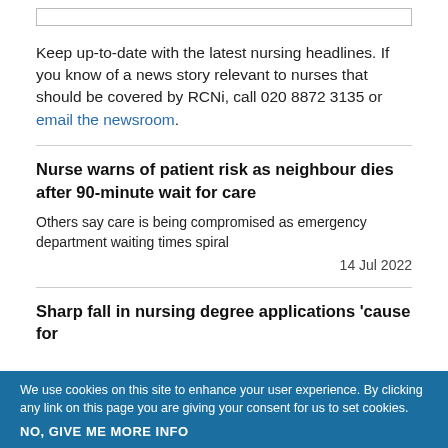Keep up-to-date with the latest nursing headlines. If you know of a news story relevant to nurses that should be covered by RCNi, call 020 8872 3135 or email the newsroom.
Nurse warns of patient risk as neighbour dies after 90-minute wait for care
Others say care is being compromised as emergency department waiting times spiral
14 Jul 2022
Sharp fall in nursing degree applications 'cause for concern'
We use cookies on this site to enhance your user experience. By clicking any link on this page you are giving your consent for us to set cookies.
NO, GIVE ME MORE INFO